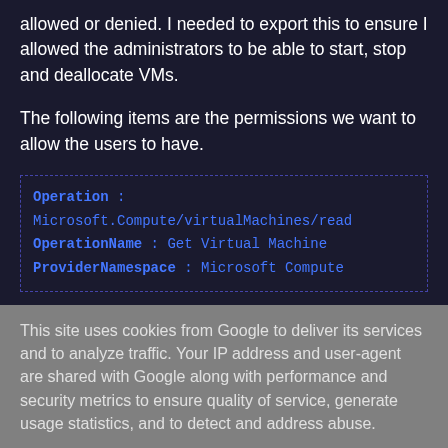allowed or denied. I needed to export this to ensure I allowed the administrators to be able to start, stop and deallocate VMs.
The following items are the permissions we want to allow the users to have.
Operation        : Microsoft.Compute/virtualMachines/read
OperationName    : Get Virtual Machine
ProviderNamespace : Microsoft Compute
This site uses cookies from Google to deliver its services and to analyze traffic. Your IP address and user-agent are shared with Google along with performance and security metrics to ensure quality of service, generate usage statistics, and to detect and address abuse.
LEARN MORE    OK